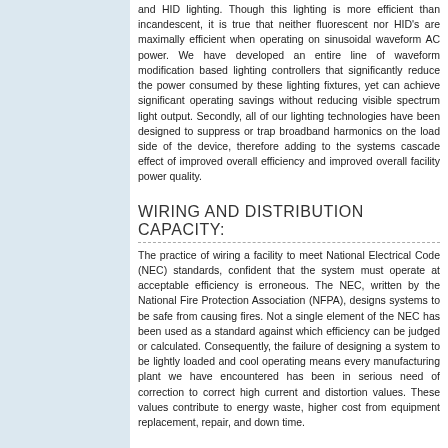and HID lighting. Though this lighting is more efficient than incandescent, it is true that neither fluorescent nor HID's are maximally efficient when operating on sinusoidal waveform AC power. We have developed an entire line of waveform modification based lighting controllers that significantly reduce the power consumed by these lighting fixtures, yet can achieve significant operating savings without reducing visible spectrum light output. Secondly, all of our lighting technologies have been designed to suppress or trap broadband harmonics on the load side of the device, therefore adding to the systems cascade effect of improved overall efficiency and improved overall facility power quality.
WIRING AND DISTRIBUTION CAPACITY:
The practice of wiring a facility to meet National Electrical Code (NEC) standards, confident that the system must operate at acceptable efficiency is erroneous. The NEC, written by the National Fire Protection Association (NFPA), designs systems to be safe from causing fires. Not a single element of the NEC has been used as a standard against which efficiency can be judged or calculated. Consequently, the failure of designing a system to be lightly loaded and cool operating means every manufacturing plant we have encountered has been in serious need of correction to correct high current and distortion values. These values contribute to energy waste, higher cost from equipment replacement, repair, and down time.
POWER FACTOR CORRECTION:
We have found that the careful application of properly sized (by VAR) capacitors in very close proximity to inductive loads clearly meets the 'two benefit' standard of direct and indirect savings. While such an approach requires specific correctly matched capacitor network for every single treated load in a facility, the extra effort in quick payback through consumption savings, savings from reduced maintenance, and savings from improved power quality.